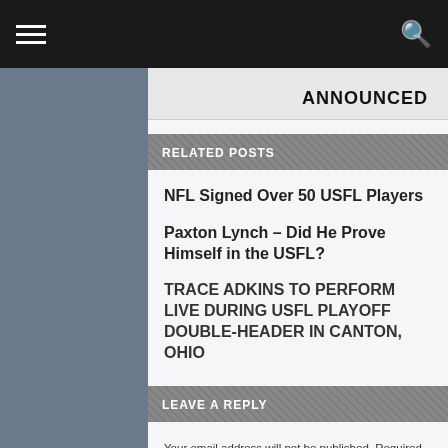Navigation header with hamburger menu and search icon
ANNOUNCED
RELATED POSTS
NFL Signed Over 50 USFL Players
Paxton Lynch – Did He Prove Himself in the USFL?
TRACE ADKINS TO PERFORM LIVE DURING USFL PLAYOFF DOUBLE-HEADER IN CANTON, OHIO
LEAVE A REPLY
Your email address will not be published. Required fields are marked *
Comment